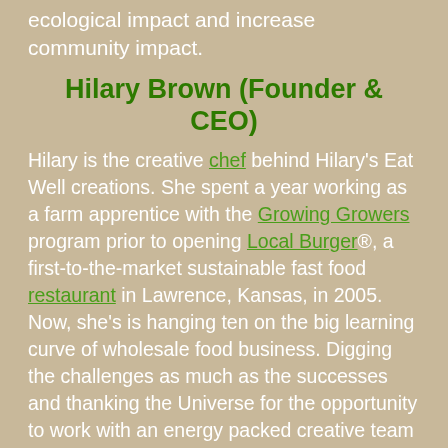ecological impact and increase community impact.
Hilary Brown (Founder & CEO)
Hilary is the creative chef behind Hilary's Eat Well creations. She spent a year working as a farm apprentice with the Growing Growers program prior to opening Local Burger®, a first-to-the-market sustainable fast food restaurant in Lawrence, Kansas, in 2005.  Now, she's is hanging ten on the big learning curve of wholesale food business. Digging the challenges as much as the successes and thanking the Universe for the opportunity to work with an energy packed creative team committed to creating a better future for all. What do you love right now? Millet, Hemp, Grass-land, Elk, Turmeric, Kim Chi, Trees, Bats, Crows, People, Worms, Dancing, Tig...